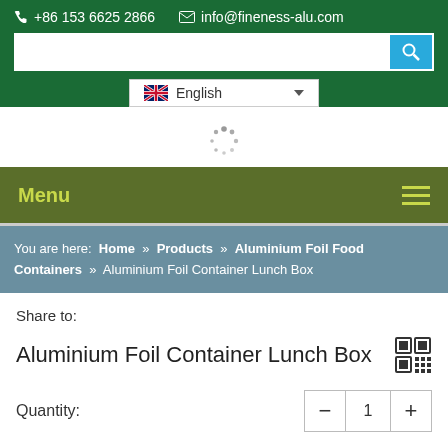+86 153 6625 2866   info@fineness-alu.com
[Figure (screenshot): Search input box with blue search button]
[Figure (screenshot): Language selector showing English with UK flag and dropdown arrow]
[Figure (screenshot): Loading spinner (dots in a circle pattern)]
Menu
You are here: Home » Products » Aluminium Foil Food Containers » Aluminium Foil Container Lunch Box
Share to:
Aluminium Foil Container Lunch Box
Quantity: 1